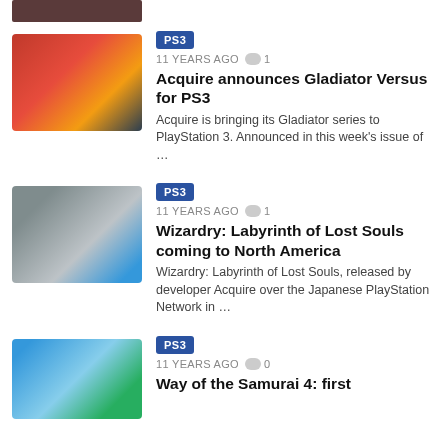[Figure (screenshot): Partial top thumbnail of an article item (cropped from previous page)]
...
[Figure (photo): Game art for Acquire Gladiator Versus for PS3 - warrior holding helmet with Japanese characters]
PS3
11 YEARS AGO  1
Acquire announces Gladiator Versus for PS3
Acquire is bringing its Gladiator series to PlayStation 3. Announced in this week's issue of …
[Figure (screenshot): Game screenshot for Wizardry Labyrinth of Lost Souls - anime character in a city environment]
PS3
11 YEARS AGO  1
Wizardry: Labyrinth of Lost Souls coming to North America
Wizardry: Labyrinth of Lost Souls, released by developer Acquire over the Japanese PlayStation Network in …
[Figure (photo): Game art for Way of the Samurai 4 - character outdoors under blue sky]
PS3
11 YEARS AGO  0
Way of the Samurai 4: first